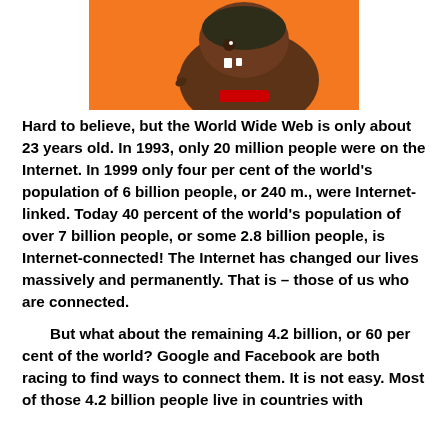[Figure (illustration): Cartoon illustration of a brown dinosaur or monster character with a helmet/headphones, on an orange background, cropped at top of page]
Hard to believe, but the World Wide Web is only about 23 years old. In 1993, only 20 million people were on the Internet. In 1999 only four per cent of the world's population of 6 billion people, or 240 m., were Internet-linked. Today 40 percent of the world's population of over 7 billion people, or some 2.8 billion people, is Internet-connected! The Internet has changed our lives massively and permanently. That is – those of us who are connected.
But what about the remaining 4.2 billion, or 60 per cent of the world? Google and Facebook are both racing to find ways to connect them. It is not easy. Most of those 4.2 billion people live in countries with